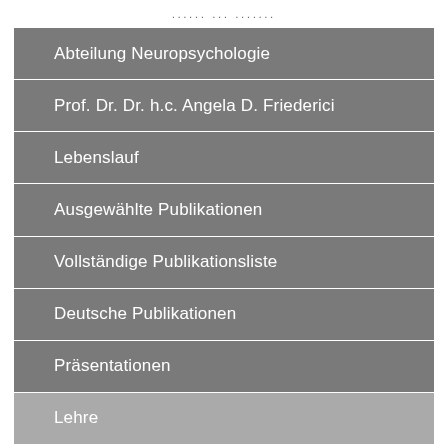Abteilung Neuropsychologie
Prof. Dr. Dr. h.c. Angela D. Friederici
Lebenslauf
Ausgewählte Publikationen
Vollständige Publikationsliste
Deutsche Publikationen
Präsentationen
Lehre